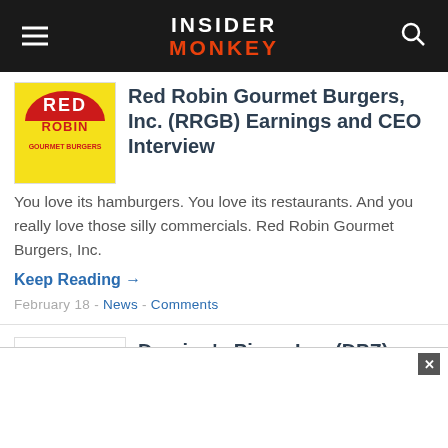Insider Monkey
[Figure (logo): Red Robin Gourmet Burgers logo]
Red Robin Gourmet Burgers, Inc. (RRGB) Earnings and CEO Interview
You love its hamburgers. You love its restaurants. And you really love those silly commercials. Red Robin Gourmet Burgers, Inc.
Keep Reading →
February 18 - News - Comments
[Figure (logo): Domino's Pizza logo]
Domino's Pizza, Inc. (DPZ) Earnings Report